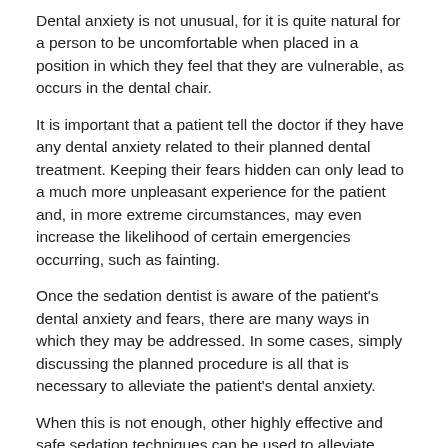Dental anxiety is not unusual, for it is quite natural for a person to be uncomfortable when placed in a position in which they feel that they are vulnerable, as occurs in the dental chair.
It is important that a patient tell the doctor if they have any dental anxiety related to their planned dental treatment. Keeping their fears hidden can only lead to a much more unpleasant experience for the patient and, in more extreme circumstances, may even increase the likelihood of certain emergencies occurring, such as fainting.
Once the sedation dentist is aware of the patient's dental anxiety and fears, there are many ways in which they may be addressed. In some cases, simply discussing the planned procedure is all that is necessary to alleviate the patient's dental anxiety.
When this is not enough, other highly effective and safe sedation techniques can be used to alleviate dental anxiety. If the technique involves the administration of a drug, it is termed conscious sedation dentistry.
The most readily available routes of conscious sedation are: oral, inhalation, intravenous and intramuscular. For extremely fearful dental patients, general anesthesia may be required.